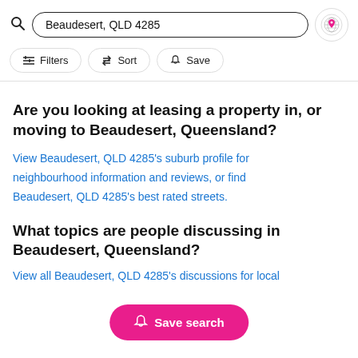[Figure (screenshot): Search bar showing 'Beaudesert, QLD 4285' with search icon on left and map pin icon button on right]
[Figure (screenshot): Filter row with three pill buttons: Filters, Sort, Save]
Are you looking at leasing a property in, or moving to Beaudesert, Queensland?
View Beaudesert, QLD 4285's suburb profile for neighbourhood information and reviews, or find Beaudesert, QLD 4285's best rated streets.
What topics are people discussing in Beaudesert, Queensland?
View all Beaudesert, QLD 4285's discussions for local
[Figure (screenshot): Pink 'Save search' button with bell icon at bottom center of screen]